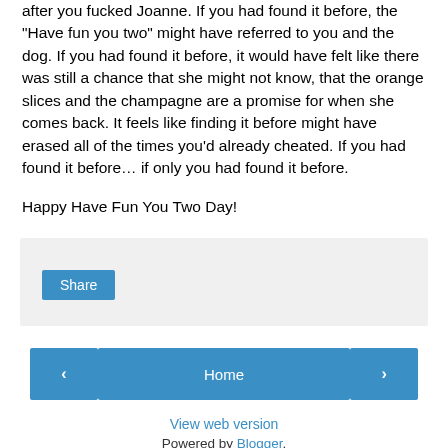after you fucked Joanne. If you had found it before, the "Have fun you two" might have referred to you and the dog. If you had found it before, it would have felt like there was still a chance that she might not know, that the orange slices and the champagne are a promise for when she comes back. It feels like finding it before might have erased all of the times you'd already cheated. If you had found it before… if only you had found it before.
Happy Have Fun You Two Day!
[Figure (other): Social share widget area with a Share button on a light grey background]
‹
Home
›
View web version
Powered by Blogger.